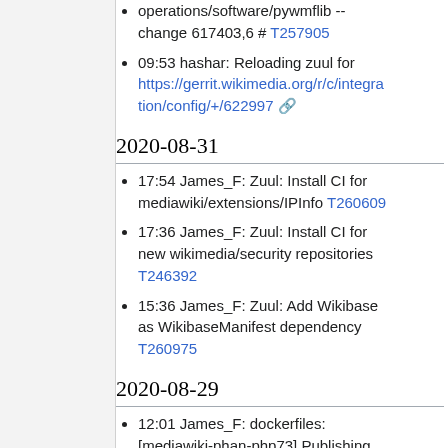operations/software/pywmflib -- change 617403,6 # T257905
09:53 hashar: Reloading zuul for https://gerrit.wikimedia.org/r/c/integration/config/+/622997
2020-08-31
17:54 James_F: Zuul: Install CI for mediawiki/extensions/IPInfo T260609
17:36 James_F: Zuul: Install CI for new wikimedia/security repositories T246392
15:36 James_F: Zuul: Add Wikibase as WikibaseManifest dependency T260975
2020-08-29
12:01 James_F: dockerfiles: [mediawiki-phan-php73] Publishing